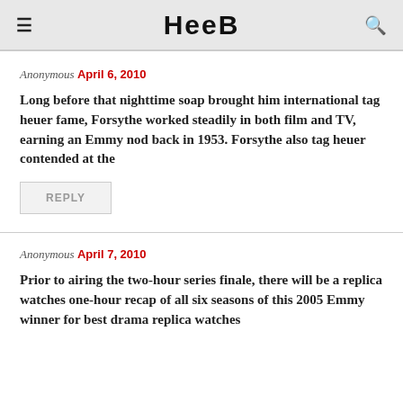HEEB
Anonymous April 6, 2010
Long before that nighttime soap brought him international tag heuer fame, Forsythe worked steadily in both film and TV, earning an Emmy nod back in 1953. Forsythe also tag heuer contended at the
REPLY
Anonymous April 7, 2010
Prior to airing the two-hour series finale, there will be a replica watches one-hour recap of all six seasons of this 2005 Emmy winner for best drama replica watches